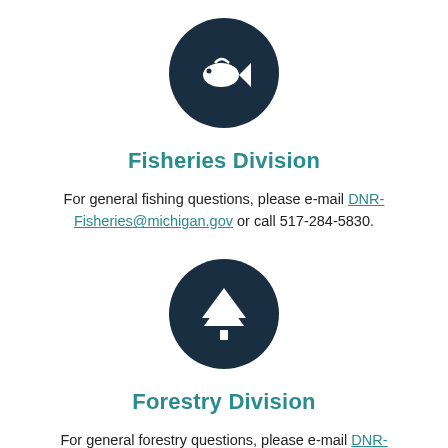[Figure (illustration): Dark navy blue circle icon with a white fish silhouette (fishing icon) in the center]
Fisheries Division
For general fishing questions, please e-mail DNR-Fisheries@michigan.gov or call 517-284-5830.
[Figure (illustration): Dark navy blue circle icon with a white pine tree silhouette (forestry icon) in the center]
Forestry Division
For general forestry questions, please e-mail DNR-